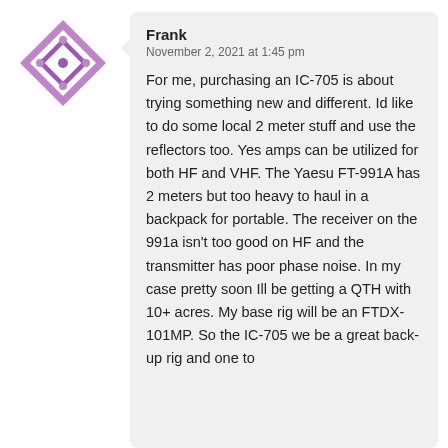[Figure (illustration): Purple and white diamond/square geometric avatar icon]
Frank
November 2, 2021 at 1:45 pm
For me, purchasing an IC-705 is about trying something new and different. Id like to do some local 2 meter stuff and use the reflectors too. Yes amps can be utilized for both HF and VHF. The Yaesu FT-991A has 2 meters but too heavy to haul in a backpack for portable. The receiver on the 991a isn't too good on HF and the transmitter has poor phase noise. In my case pretty soon Ill be getting a QTH with 10+ acres. My base rig will be an FTDX-101MP. So the IC-705 we be a great back-up rig and one to